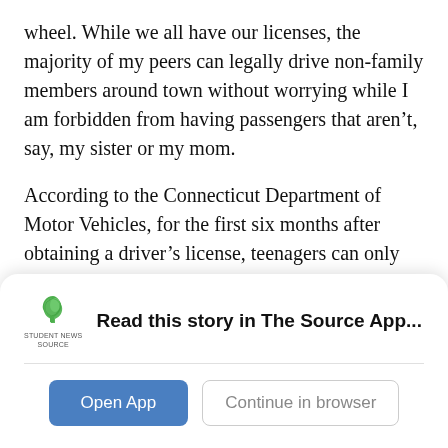wheel. While we all have our licenses, the majority of my peers can legally drive non-family members around town without worrying while I am forbidden from having passengers that aren't, say, my sister or my mom.
According to the Connecticut Department of Motor Vehicles, for the first six months after obtaining a driver's license, teenagers can only drive with a parent or licensed driving instructor.
Worst of all, until a driver turns 18, he or she can't drive between the hours of 11 p.m. and 5 a.m. I
[Figure (infographic): App banner for Student News Source app with logo, title 'Read this story in The Source App...', a blue 'Open App' button and a gray 'Continue in browser' button.]